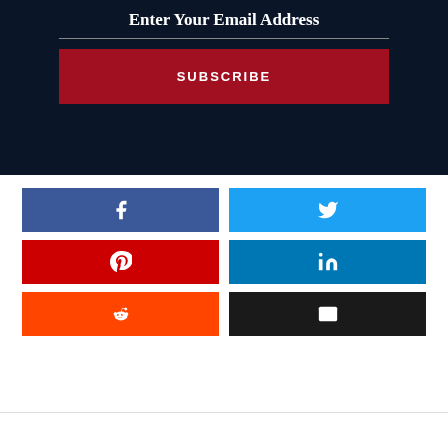Enter Your Email Address
SUBSCRIBE
[Figure (infographic): Six social media share buttons in a 2x3 grid: Facebook (dark blue), Twitter (light blue), Pinterest (red), LinkedIn (blue), Reddit (orange), Email (dark/black)]